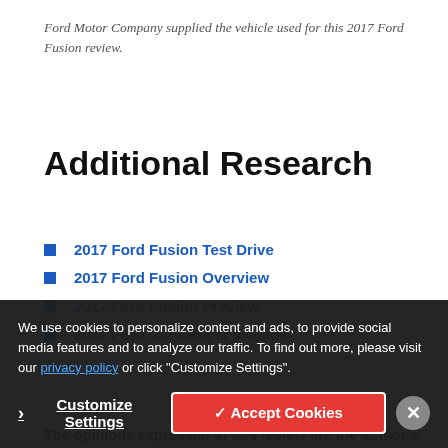Ford Motor Company supplied the vehicle used for this 2017 Ford Fusion review.
Additional Research
2017 Ford Fusion Test Drive
2017 Ford Fusion Overview
2017 Ford Fusion Preview
2017 Ford Cars Buyer's Guide
The opinions expressed in this review are the author's own, not J.D. Power's.
We use cookies to personalize content and ads, to provide social media features and to analyze our traffic. To find out more, please visit our privacy policy or click "Customize Settings".